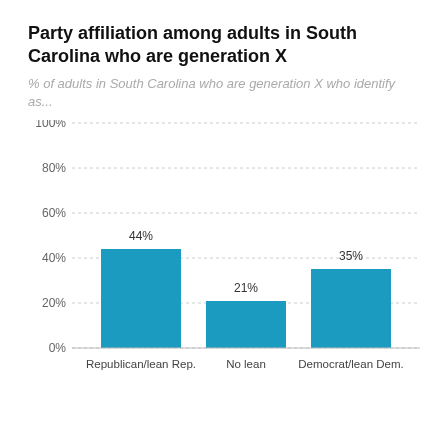Party affiliation among adults in South Carolina who are generation X
% of adults in South Carolina who are generation X who identify as...
[Figure (bar-chart): Party affiliation among adults in South Carolina who are generation X]